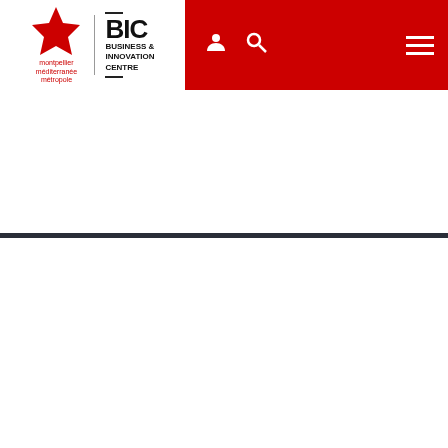[Figure (logo): BIC Business & Innovation Centre logo with Montpellier Méditerranée Métropole star logo on red navigation bar]
Practical information
PRACTICAL INFORMATION
En poursuivant votre navigation sur ce site, vous acceptez l'utilisation de cookies. More info
Accept  Decline